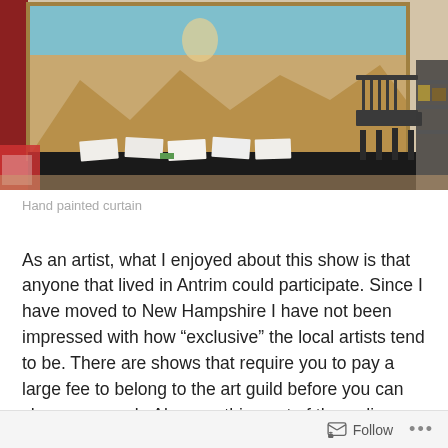[Figure (photo): Indoor scene showing a hand-painted curtain mural on a stage backdrop with desert/landscape scene. A dark stage platform holds folded white papers/pamphlets. A wooden Windsor chair and shelving unit are visible on the right. Red flowers on the left.]
Hand painted curtain
As an artist, what I enjoyed about this show is that anyone that lived in Antrim could participate.  Since I have moved to New Hampshire I have not been impressed with how “exclusive” the local artists tend to be.  There are shows that require you to pay a large fee to belong to the art guild before you can show your work.  Also, anything out of the ordinary or “different” is seen as a threat to those local artists. It becomes monotonous to attend shows with the
Follow •••